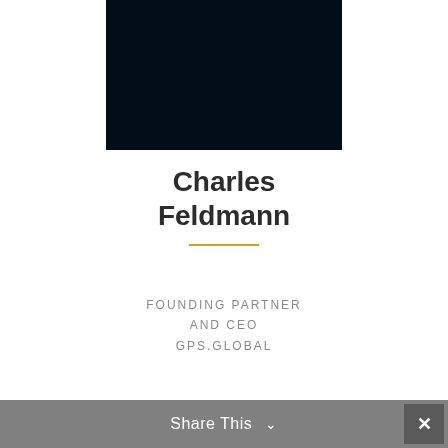[Figure (photo): Dark/black portrait photo placeholder of Charles Feldmann]
Charles Feldmann
FOUNDING PARTNER AND CEO GPS.GLOBAL
Share This ∨